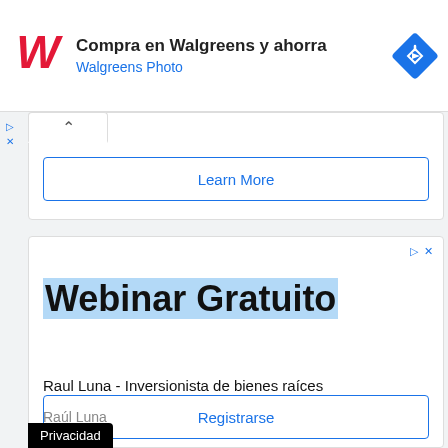[Figure (screenshot): Walgreens ad banner with Walgreens logo (red cursive W), headline 'Compra en Walgreens y ahorra', subheadline 'Walgreens Photo' in blue, and a blue diamond navigation icon on the right.]
▷
✕
[Figure (screenshot): Collapsed ad card with upward caret tab and a 'Learn More' button with blue border.]
Learn More
[Figure (screenshot): Second ad card for 'Webinar Gratuito' by Raul Luna - Inversionista de bienes raíces, with a Registrarse button.]
Webinar Gratuito
Raul Luna - Inversionista de bienes raíces
Raúl Luna
Registrarse
Privacidad